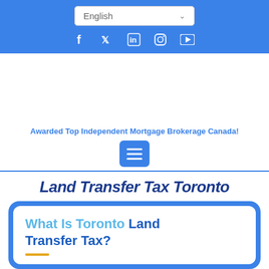[Figure (screenshot): Language selector dropdown showing 'English' with a down chevron, on a blue header background]
[Figure (infographic): Social media icons: Facebook, Twitter, LinkedIn, Instagram, YouTube — white icons on blue background]
Awarded Top Independent Mortgage Brokerage Canada!
[Figure (infographic): Hamburger menu button (three white lines) on blue square rounded-corner button]
Land Transfer Tax Toronto
What Is Toronto Land Transfer Tax?